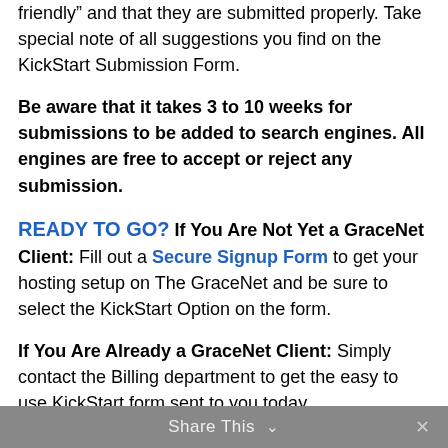friendly” and that they are submitted properly. Take special note of all suggestions you find on the KickStart Submission Form.
Be aware that it takes 3 to 10 weeks for submissions to be added to search engines. All engines are free to accept or reject any submission.
READY TO GO? If You Are Not Yet a GraceNet Client: Fill out a Secure Signup Form to get your hosting setup on The GraceNet and be sure to select the KickStart Option on the form.
If You Are Already a GraceNet Client: Simply contact the Billing department to get the easy to use KickStart form sent to you today.
Share This ∨ ×